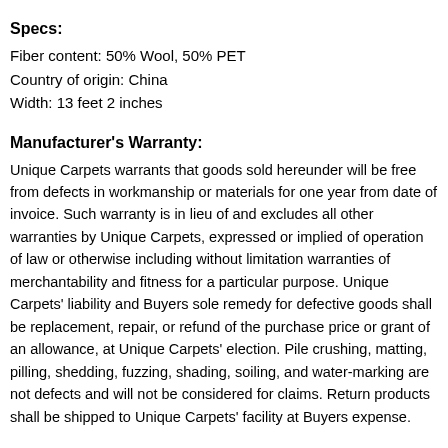Specs:
Fiber content: 50% Wool, 50% PET
Country of origin: China
Width: 13 feet 2 inches
Manufacturer's Warranty:
Unique Carpets warrants that goods sold hereunder will be free from defects in workmanship or materials for one year from date of invoice. Such warranty is in lieu of and excludes all other warranties by Unique Carpets, expressed or implied of operation of law or otherwise including without limitation warranties of merchantability and fitness for a particular purpose. Unique Carpets' liability and Buyers sole remedy for defective goods shall be replacement, repair, or refund of the purchase price or grant of an allowance, at Unique Carpets' election. Pile crushing, matting, pilling, shedding, fuzzing, shading, soiling, and water-marking are not defects and will not be considered for claims. Return products shall be shipped to Unique Carpets' facility at Buyers expense.